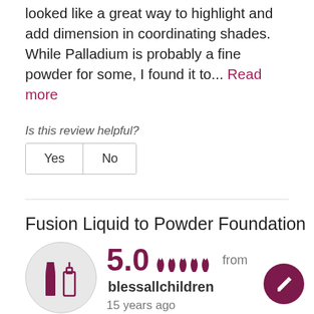looked like a great way to highlight and add dimension in coordinating shades. While Palladium is probably a fine powder for some, I found it to... Read more
Is this review helpful?
Yes   No
Fusion Liquid to Powder Foundation
[Figure (illustration): Product thumbnail showing two cosmetic product icons (a lipstick and a foundation bottle) on a grey circular background]
5.0  from  blessallchildren
15 years ago
Favorite   Flag
This goes on like a light liquid with little pigment but evens out the skin tone and converts into a powder as it dries. It has SPF and is good for the skin. I couldn't be